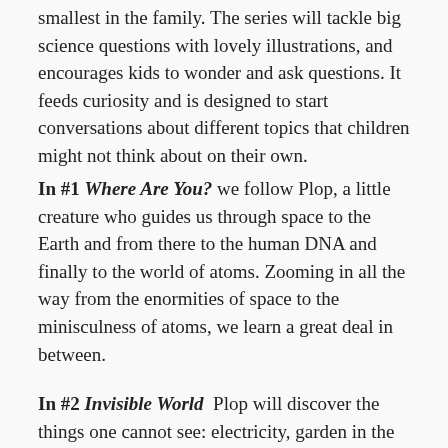smallest in the family. The series will tackle big science questions with lovely illustrations, and encourages kids to wonder and ask questions. It feeds curiosity and is designed to start conversations about different topics that children might not think about on their own.
In #1 Where Are You? we follow Plop, a little creature who guides us through space to the Earth and from there to the human DNA and finally to the world of atoms. Zooming in all the way from the enormities of space to the minisculness of atoms, we learn a great deal in between.
In #2 Invisible World  Plop will discover the things one cannot see: electricity, garden in the fog, darkness, micro-organisms and other invisible things.
Where Plop will go, the children will be...